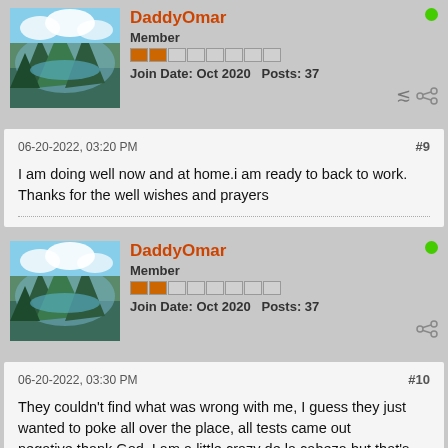DaddyOmar
Member
Join Date: Oct 2020   Posts: 37
06-20-2022, 03:20 PM
#9
I am doing well now and at home.i am ready to back to work. Thanks for the well wishes and prayers
DaddyOmar
Member
Join Date: Oct 2020   Posts: 37
06-20-2022, 03:30 PM
#10
They couldn't find what was wrong with me, I guess they just wanted to poke all over the place, all tests came out negative,thank God. I am a little crazy de la cabeza but that's another problem. I got out of the hospital on Saturday Saturday so I didn't have to spend Father's day in the hospital. I hope you guys had a wonderful, blessed day y on Father's day, i did